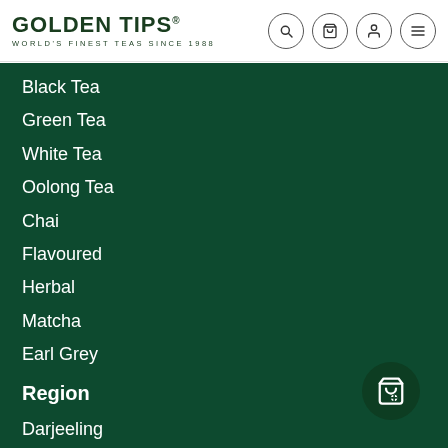GOLDEN TIPS® WORLD'S FINEST TEAS SINCE 1988
Black Tea
Green Tea
White Tea
Oolong Tea
Chai
Flavoured
Herbal
Matcha
Earl Grey
Region
Darjeeling
Assam